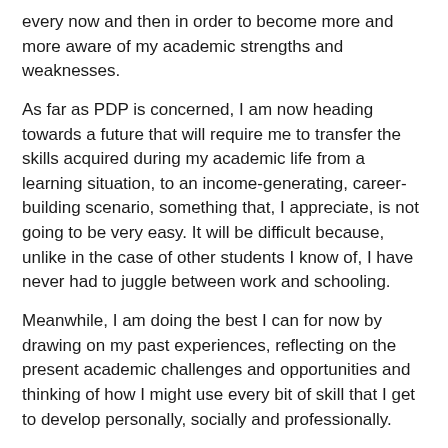every now and then in order to become more and more aware of my academic strengths and weaknesses.
As far as PDP is concerned, I am now heading towards a future that will require me to transfer the skills acquired during my academic life from a learning situation, to an income-generating, career-building scenario, something that, I appreciate, is not going to be very easy. It will be difficult because, unlike in the case of other students I know of, I have never had to juggle between work and schooling.
Meanwhile, I am doing the best I can for now by drawing on my past experiences, reflecting on the present academic challenges and opportunities and thinking of how I might use every bit of skill that I get to develop personally, socially and professionally.
References